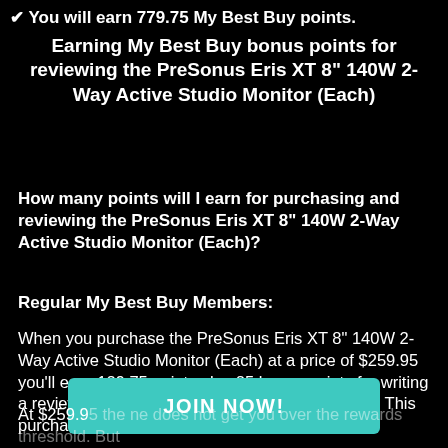✔ You will earn 779.75 My Best Buy points.
Earning My Best Buy bonus points for reviewing the PreSonus Eris XT 8" 140W 2-Way Active Studio Monitor (Each)
How many points will I earn for purchasing and reviewing the PreSonus Eris XT 8" 140W 2-Way Active Studio Monitor (Each)?
Regular My Best Buy Members:
When you purchase the PreSonus Eris XT 8" 140W 2-Way Active Studio Monitor (Each) at a price of $259.95 you'll earn 129.75 points plus 25 bonus points for writing a review, for a total of 154.75 My Best Buy points. This purchase
[Figure (other): JOIN NOW! button in teal/cyan color]
At $259.95 the does not get you over the rewards threshold. But